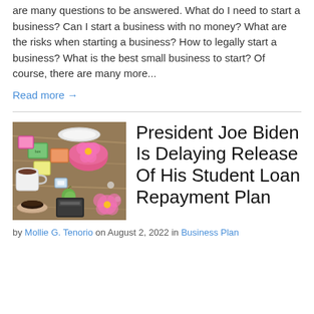are many questions to be answered. What do I need to start a business? Can I start a business with no money? What are the risks when starting a business? How to legally start a business? What is the best small business to start? Of course, there are many more...
Read more →
[Figure (photo): Overhead view of small business items: colorful product boxes, pink flowers, a mug, and coffee on a wooden table]
President Joe Biden Is Delaying Release Of His Student Loan Repayment Plan
by Mollie G. Tenorio on August 2, 2022 in Business Plan